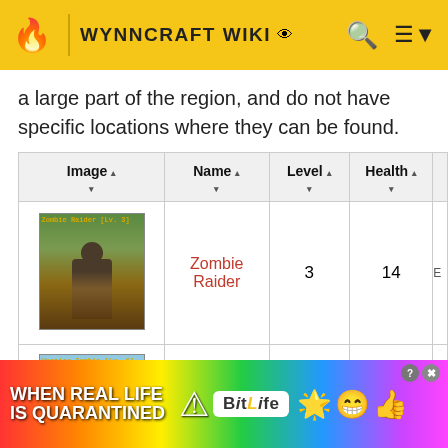WYNNCRAFT WIKI
a large part of the region, and do not have specific locations where they can be found.
| Image | Name | Level | Health |
| --- | --- | --- | --- |
| [image: Zombie Raider Lv.3] | Zombie Raider | 3 | 14 |
| [image: Warrior Zombie Lv.6] | Warrior Zombie | 6 | 36 |
[Figure (screenshot): Advertisement banner: BitLife game ad with rainbow background, text 'WHEN REAL LIFE IS QUARANTINED', BitLife logo, and cartoon emoji characters]